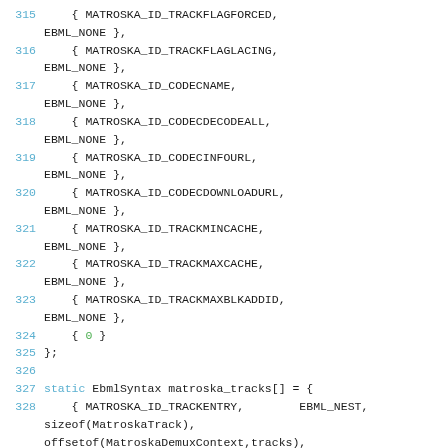315     { MATROSKA_ID_TRACKFLAGFORCED, EBML_NONE },
316     { MATROSKA_ID_TRACKFLAGLACING, EBML_NONE },
317     { MATROSKA_ID_CODECNAME, EBML_NONE },
318     { MATROSKA_ID_CODECDECODEALL, EBML_NONE },
319     { MATROSKA_ID_CODECINFOURL, EBML_NONE },
320     { MATROSKA_ID_CODECDOWNLOADURL, EBML_NONE },
321     { MATROSKA_ID_TRACKMINCACHE, EBML_NONE },
322     { MATROSKA_ID_TRACKMAXCACHE, EBML_NONE },
323     { MATROSKA_ID_TRACKMAXBLKADDID, EBML_NONE },
324     { 0 }
325 };
326
327 static EbmlSyntax matroska_tracks[] = {
328     { MATROSKA_ID_TRACKENTRY,        EBML_NEST, sizeof(MatroskaTrack), offsetof(MatroskaDemuxContext,tracks),